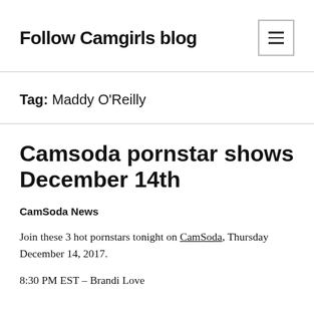Follow Camgirls blog
Tag: Maddy O'Reilly
Camsoda pornstar shows December 14th
CamSoda News
Join these 3 hot pornstars tonight on CamSoda, Thursday December 14, 2017.
8:30 PM EST – Brandi Love